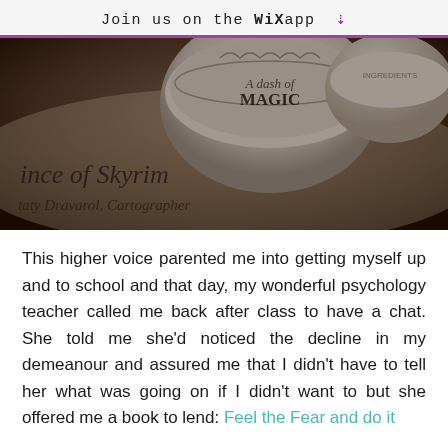Join us on the WiX app ↓
[Figure (photo): Close-up photo of items on a desk. A circular tin labeled 'A dash of MAGIC' is visible. Below, stylized text reads 'ince of Skyrim' and 'taty Dravarol, Cartographer']
This higher voice parented me into getting myself up and to school and that day, my wonderful psychology teacher called me back after class to have a chat. She told me she'd noticed the decline in my demeanour and assured me that I didn't have to tell her what was going on if I didn't want to but she offered me a book to lend: Feel the Fear and do it